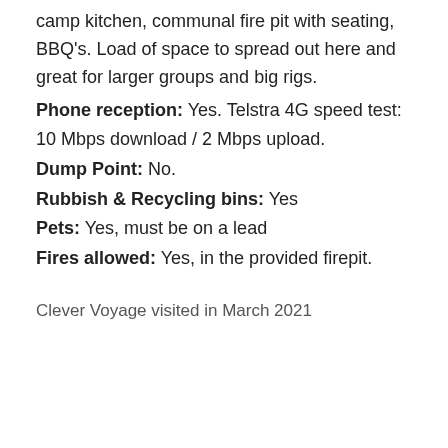camp kitchen, communal fire pit with seating, BBQ's. Load of space to spread out here and great for larger groups and big rigs.
Phone reception: Yes. Telstra 4G speed test: 10 Mbps download / 2 Mbps upload.
Dump Point: No.
Rubbish & Recycling bins: Yes
Pets: Yes, must be on a lead
Fires allowed: Yes, in the provided firepit.
Clever Voyage visited in March 2021